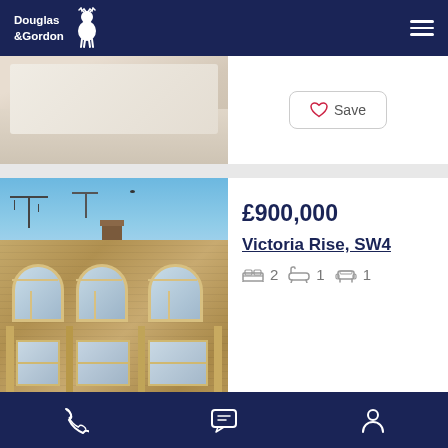Douglas & Gordon
Save
[Figure (photo): Photo of a Victorian terraced building facade in tan/yellow brick with arched windows, blue sky, and TV antenna visible on roof]
£900,000
Victoria Rise, SW4
2 bedrooms, 1 bathroom, 1 reception
Phone | Chat | Account navigation icons